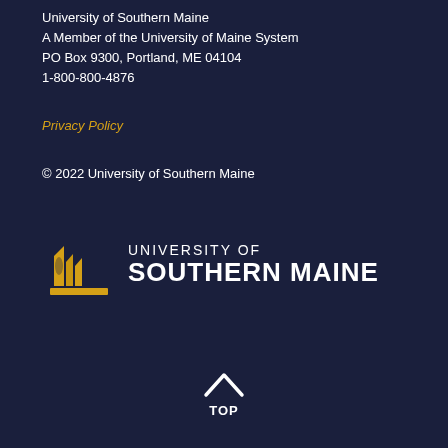University of Southern Maine
A Member of the University of Maine System
PO Box 9300, Portland, ME 04104
1-800-800-4876
Privacy Policy
© 2022 University of Southern Maine
[Figure (logo): University of Southern Maine logo with golden sailboat/monument icon and white text reading UNIVERSITY OF SOUTHERN MAINE]
TOP